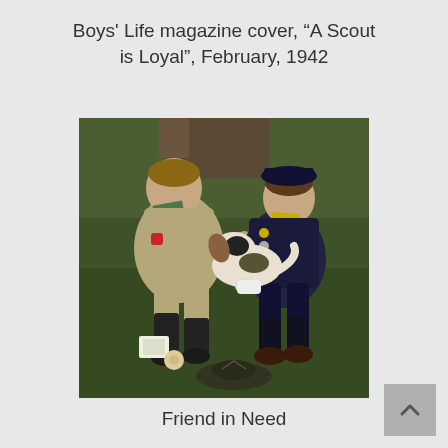Boys' Life magazine cover, “A Scout is Loyal”, February, 1942
[Figure (illustration): Norman Rockwell illustration showing two Boy Scouts tending to an injured dog. One scout in khaki uniform with black knee socks bandages the dog's paw while the other scout in a dark uniform holds the dog. A Scout hat and first aid supplies are visible on the ground.]
Friend in Need